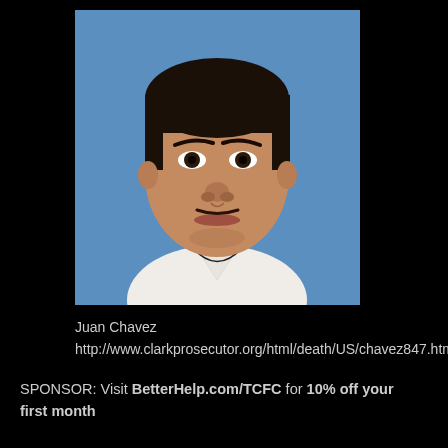[Figure (photo): Headshot/mugshot-style photograph of Juan Chavez, a man with short dark hair, wearing a white shirt, against a blue background.]
Juan Chavez
http://www.clarkprosecutor.org/html/death/US/chavez847.htm
SPONSOR: Visit BetterHelp.com/TCFC for 10% off your first month